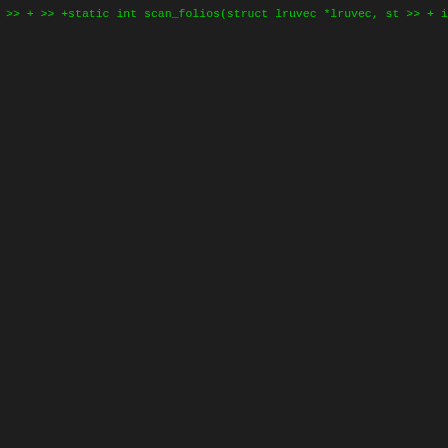[Figure (other): Source code diff patch showing C function scan_folios with LRU memory management code, displayed in green monospace font on dark background]